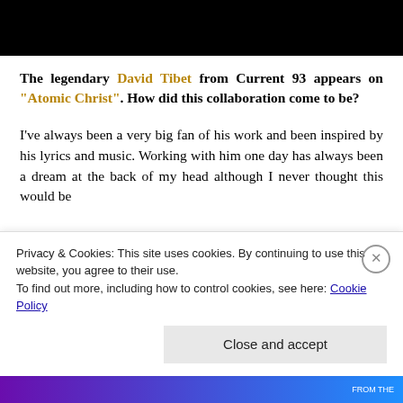[Figure (photo): Black bar at top of page representing a video or image header]
The legendary David Tibet from Current 93 appears on "Atomic Christ". How did this collaboration come to be?
I've always been a very big fan of his work and been inspired by his lyrics and music. Working with him one day has always been a dream at the back of my head although I never thought this would be
Privacy & Cookies: This site uses cookies. By continuing to use this website, you agree to their use.
To find out more, including how to control cookies, see here: Cookie Policy
Close and accept